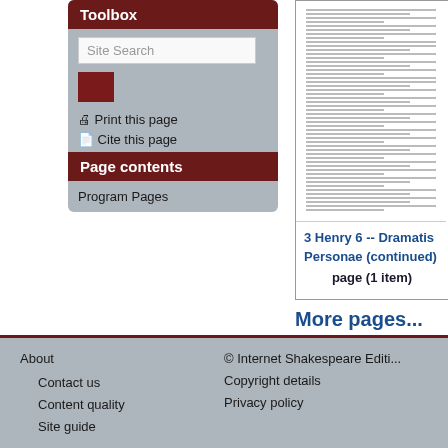Toolbox
Site Search
Print this page
Cite this page
Page contents
Program Pages
[Figure (screenshot): Document thumbnail showing 3 Henry 6 -- Dramatis Personae (continued) page with small text lines]
3 Henry 6 -- Dramatis Personae (continued)
page (1 item)
More pages...
About  Contact us  Content quality  Site guide  © Internet Shakespeare Editi...  Copyright details  Privacy policy